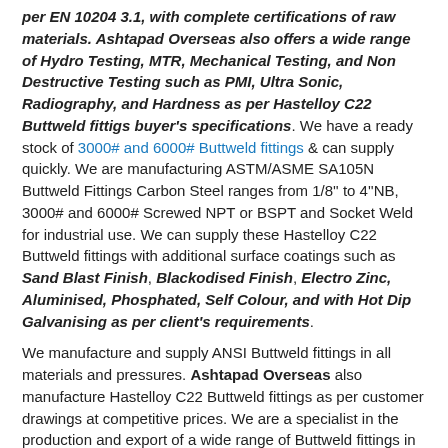per EN 10204 3.1, with complete certifications of raw materials. Ashtapad Overseas also offers a wide range of Hydro Testing, MTR, Mechanical Testing, and Non Destructive Testing such as PMI, Ultra Sonic, Radiography, and Hardness as per Hastelloy C22 Buttweld fittigs buyer's specifications. We have a ready stock of 3000# and 6000# Buttweld fittings & can supply quickly. We are manufacturing ASTM/ASME SA105N Buttweld Fittings Carbon Steel ranges from 1/8'' to 4''NB, 3000# and 6000# Screwed NPT or BSPT and Socket Weld for industrial use. We can supply these Hastelloy C22 Buttweld fittings with additional surface coatings such as Sand Blast Finish, Blackodised Finish, Electro Zinc, Aluminised, Phosphated, Self Colour, and with Hot Dip Galvanising as per client's requirements.
We manufacture and supply ANSI Buttweld fittings in all materials and pressures. Ashtapad Overseas also manufacture Hastelloy C22 Buttweld fittings as per customer drawings at competitive prices. We are a specialist in the production and export of a wide range of Buttweld fittings in Hastelloy C22, carbon steel, high yield, alloy steel, stainless steel, duplex, super duplex, nickel alloys and other exotic materials.
We are professional Hastelloy X, UNS No6002, UNS No6002, Alloy X, Hastelloy Alloy X, ASTM B366 WPHX fittings, Hastelloy C22 Elbows, Hastelloy C22 Tees, Hastelloy C22 Reducers, Hastelloy C22 Cross,